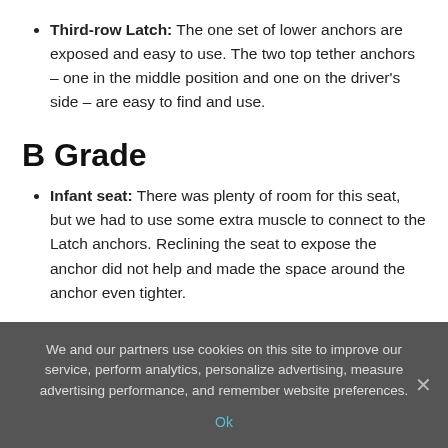Third-row Latch: The one set of lower anchors are exposed and easy to use. The two top tether anchors – one in the middle position and one on the driver's side – are easy to find and use.
B Grade
Infant seat: There was plenty of room for this seat, but we had to use some extra muscle to connect to the Latch anchors. Reclining the seat to expose the anchor did not help and made the space around the anchor even tighter.
We and our partners use cookies on this site to improve our service, perform analytics, personalize advertising, measure advertising performance, and remember website preferences.